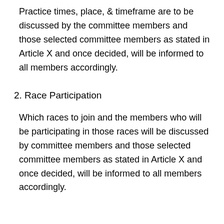Practice times, place, & timeframe are to be discussed by the committee members and those selected committee members as stated in Article X and once decided, will be informed to all members accordingly.
2. Race Participation
Which races to join and the members who will be participating in those races will be discussed by committee members and those selected committee members as stated in Article X and once decided, will be informed to all members accordingly.